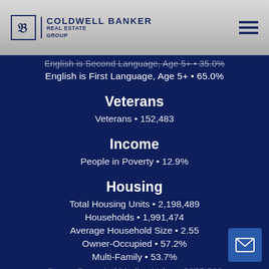COLDWELL BANKER | REAL ESTATE GROUP
English is Second Language, Age 5+ • 35.0%
English is First Language, Age 5+ • 65.0%
Veterans
Veterans • 152,483
Income
People in Poverty • 12.9%
Housing
Total Housing Units • 2,198,489
Households • 1,991,474
Average Household Size • 2.55
Owner-Occupied • 57.2%
Multi-Family • 53.7%
Owner-Occupied Median Value • $355,500